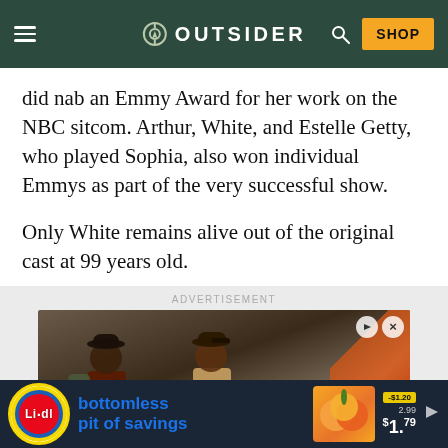OUTSIDER
did nab an Emmy Award for her work on the NBC sitcom. Arthur, White, and Estelle Getty, who played Sophia, also won individual Emmys as part of the very successful show.
Only White remains alive out of the original cast at 99 years old.
[Figure (screenshot): Advertisement banner showing two people standing, with ADVERTISEMENT label above and ad controls (play/close buttons) in top right corner.]
[Figure (screenshot): Lidl bottom banner advertisement: 'bottomless pit of savings' with peach imagery and price callouts showing -$1.20, 2.99, and $1.79.]